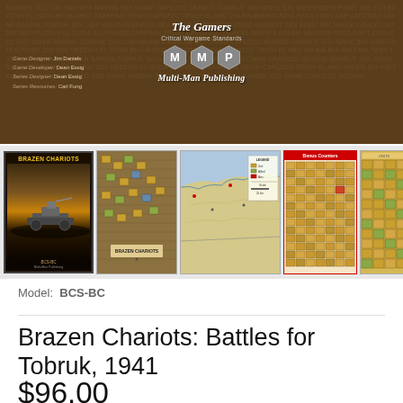[Figure (illustration): Multi-Man Publishing banner with 'The Gamers' logo, MMP hexagonal logo, game credits listing Game Designer: Jim Daniels, Game Developer: Dean Essig, Series Designer: Dean Essig, Series Resources: Carl Fung. Dark brown background with faint map/technical drawing overlay.]
[Figure (photo): Row of four product thumbnail images: (1) Brazen Chariots game box cover with yellow title text on dark background showing tank silhouette at sunset; (2) Dark brown/tan game map with hexes and unit counters; (3) Blue and tan geographic map of North Africa/Tobruk region; (4) Tan reference charts with red header bar and colored unit counters; (5) Partial view of unit counter sheet in tan/gold.]
Model:  BCS-BC
Brazen Chariots: Battles for Tobruk, 1941
$96.00